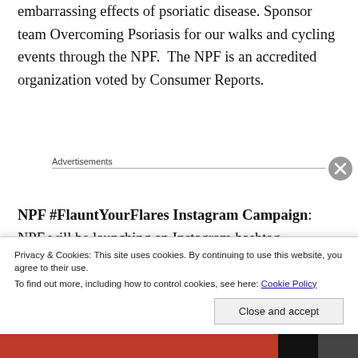embarrassing effects of psoriatic disease. Sponsor team Overcoming Psoriasis for our walks and cycling events through the NPF. The NPF is an accredited organization voted by Consumer Reports.
Advertisements
NPF #FlauntYourFlares Instagram Campaign: NPF will be launching an Instagram hashtag campaign to coincide with the first day of summer, Tuesday June 20th. The campaign is
Privacy & Cookies: This site uses cookies. By continuing to use this website, you agree to their use. To find out more, including how to control cookies, see here: Cookie Policy
Close and accept